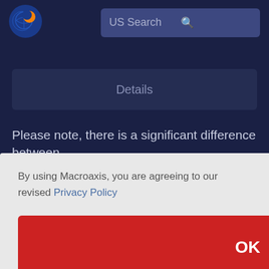[Figure (logo): Macroaxis globe logo with orange and blue colors]
US Search
Details
Please note, there is a significant difference between Chewy's value and its price as these two are different
By using Macroaxis, you are agreeing to our revised Privacy Policy
OK